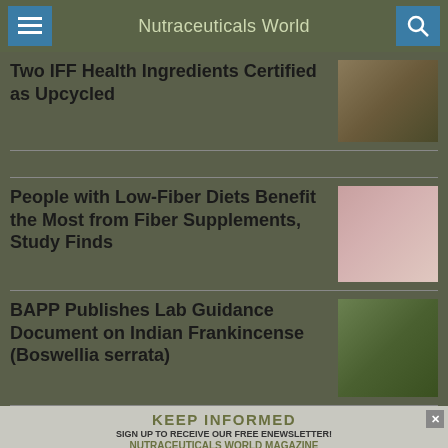Nutraceuticals World
Two IFF Health Ingredients Certified as Upcycled
People with Low-Fiber Diets Benefit the Most from Fiber Supplements, Study Finds
BAPP Publishes Lab Guidance Document on Indian Frankincense (Boswellia serrata)
KEEP INFORMED
SIGN UP TO RECEIVE OUR FREE ENEWSLETTER!
NUTRACEUTICALS WORLD MAGAZINE